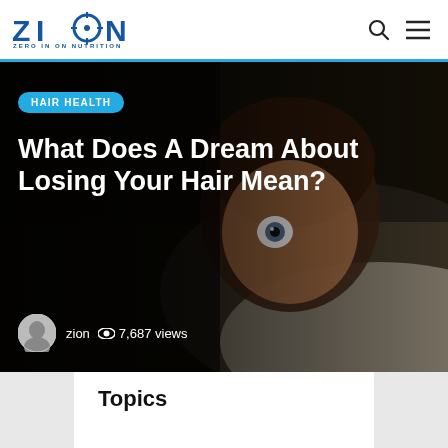ZION — ZERO IN ON NUTRITION
[Figure (photo): Person lying in bed with wide, frightened eyes looking at camera, dark background. Overlaid text: 'HAIR HEALTH' badge and article title 'What Does A Dream About Losing Your Hair Mean?' with author 'zion' and '7,687 views'.]
Topics